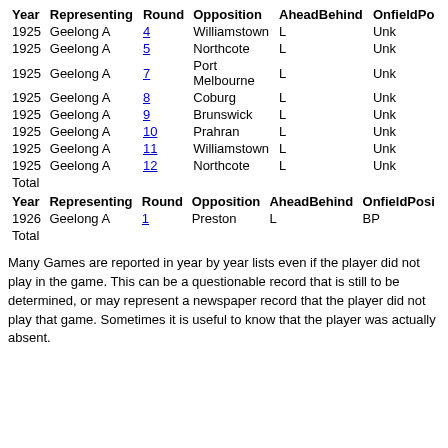| Year | Representing | Round | Opposition | Ahead | Behind | OnfieldPo... |
| --- | --- | --- | --- | --- | --- | --- |
| 1925 | Geelong A | 4 | Williamstown | L |  | Unk |
| 1925 | Geelong A | 5 | Northcote | L |  | Unk |
| 1925 | Geelong A | 7 | Port Melbourne | L |  | Unk |
| 1925 | Geelong A | 8 | Coburg | L |  | Unk |
| 1925 | Geelong A | 9 | Brunswick | L |  | Unk |
| 1925 | Geelong A | 10 | Prahran | L |  | Unk |
| 1925 | Geelong A | 11 | Williamstown | L |  | Unk |
| 1925 | Geelong A | 12 | Northcote | L |  | Unk |
| Total |  |  |  |  |  |  |
| Year | Representing | Round | Opposition | Ahead | Behind | OnfieldPosi... |
| --- | --- | --- | --- | --- | --- | --- |
| 1926 | Geelong A | 1 | Preston | L |  | BP |
| Total |  |  |  |  |  |  |
Many Games are reported in year by year lists even if the player did not play in the game. This can be a questionable record that is still to be determined, or may represent a newspaper record that the player did not play that game. Sometimes it is useful to know that the player was actually absent.